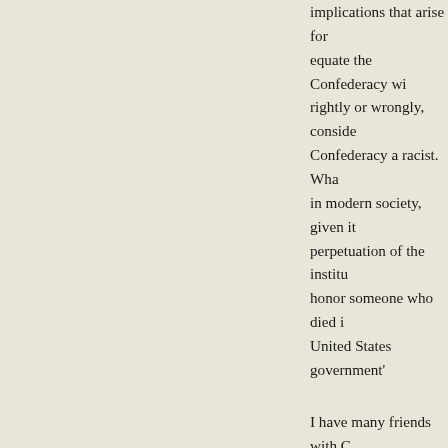implications that arise for equate the Confederacy wi rightly or wrongly, conside Confederacy a racist. Wha in modern society, given it perpetuation of the institu honor someone who died i United States government'
I have many friends with C their desire to honor the sa same time, I have no time that heritage is more impo friends at the gift that keep anyone whom they think h (again, whatever that mean unpleasant rhetoric (which post, not that I care a whit and/or Lost Causers, and t push their own twisted pol they call "political correct symbol of "heritage" is an